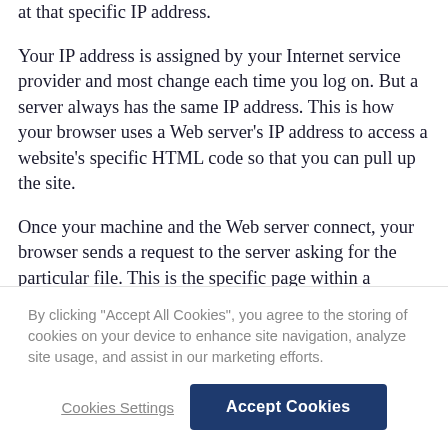at that specific IP address.
Your IP address is assigned by your Internet service provider and most change each time you log on. But a server always has the same IP address. This is how your browser uses a Web server’s IP address to access a website’s specific HTML code so that you can pull up the site.
Once your machine and the Web server connect, your browser sends a request to the server asking for the particular file. This is the specific page within a website that you’ve included in the URL you typed in your
By clicking “Accept All Cookies”, you agree to the storing of cookies on your device to enhance site navigation, analyze site usage, and assist in our marketing efforts.
Cookies Settings
Accept Cookies